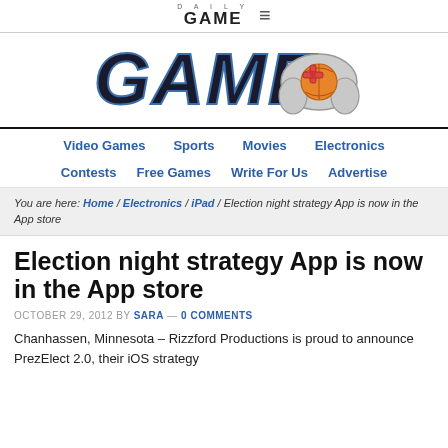DAILY GAME ≡
[Figure (logo): Daily Game logo with stylized GAME text and game controller graphic]
Video Games  Sports  Movies  Electronics  Contests  Free Games  Write For Us  Advertise
You are here: Home / Electronics / iPad / Election night strategy App is now in the App store
Election night strategy App is now in the App store
OCTOBER 29, 2012 BY SARA — 0 COMMENTS
Chanhassen, Minnesota – Rizzford Productions is proud to announce PrezElect 2.0, their iOS strategy